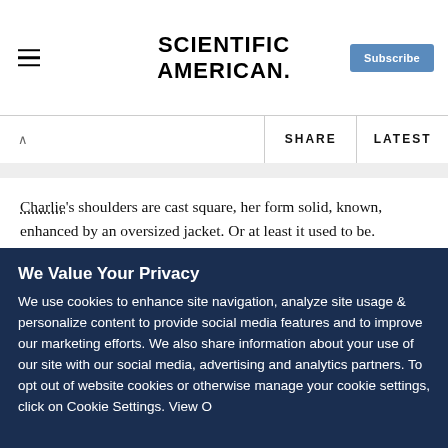SCIENTIFIC AMERICAN
Charlie's shoulders are cast square, her form solid, known, enhanced by an oversized jacket. Or at least it used to be. Charlie's been on opiates for 25 years, last month marking the first time in remembrance that she's been off the drugs. For a while it was heroin, then, for years, methadone for maintenance. (Cocaine has always been more her thing, the
We Value Your Privacy
We use cookies to enhance site navigation, analyze site usage & personalize content to provide social media features and to improve our marketing efforts. We also share information about your use of our site with our social media, advertising and analytics partners. To opt out of website cookies or otherwise manage your cookie settings, click on Cookie Settings. View O